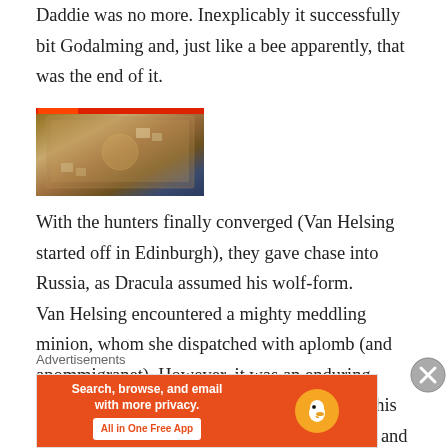Daddie was no more. Inexplicably it successfully bit Godalming and, just like a bee apparently, that was the end of it.
[Figure (photo): A board game laid out on a blue table, showing a large game board with tokens, cards and pieces arranged on it, photographed from above at an angle.]
With the hunters finally converged (Van Helsing started off in Edinburgh), they gave chase into Russia, as Dracula assumed his wolf-form. Van Helsing encountered a mighty meddling minion, whom she dispatched with aplomb (and apommigranet). However, it was an enduring example of evil and came back for seconds. This time, the elderly Van Helsing was outmatched and nearly snuffed
Advertisements
[Figure (infographic): DuckDuckGo advertisement banner: 'Search, browse, and email with more privacy. All in One Free App' on orange background with DuckDuckGo logo.]